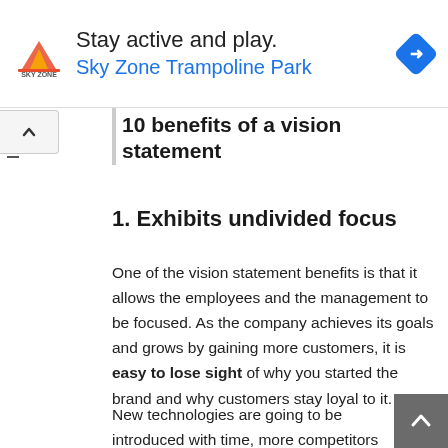[Figure (other): Sky Zone Trampoline Park advertisement banner with logo, text 'Stay active and play. Sky Zone Trampoline Park', and a blue navigation icon]
10 benefits of a vision statement
1. Exhibits undivided focus
One of the vision statement benefits is that it allows the employees and the management to be focused. As the company achieves its goals and grows by gaining more customers, it is easy to lose sight of why you started the brand and why customers stay loyal to it.
New technologies are going to be introduced with time, more competitors with unique perspectives will pop up, and there will be